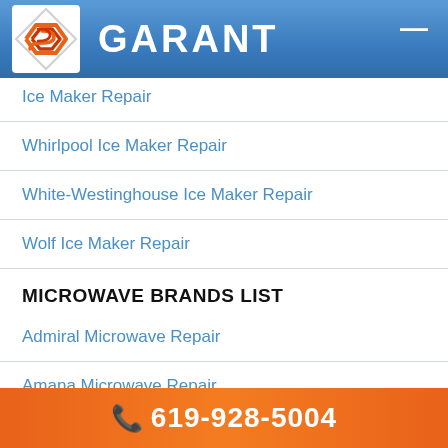GARANT
Ice Maker Repair (partial, top)
Whirlpool Ice Maker Repair
White-Westinghouse Ice Maker Repair
Wolf Ice Maker Repair
MICROWAVE BRANDS LIST
Admiral Microwave Repair
Amana Microwave Repair
Avanti Microwave Repair
Bosch Microwave Repair
619-928-5004